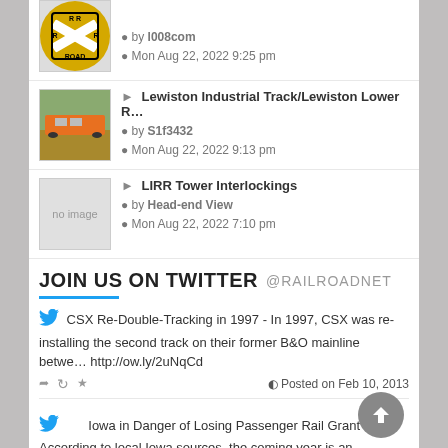by l008com · Mon Aug 22, 2022 9:25 pm
Lewiston Industrial Track/Lewiston Lower R... by S1f3432 · Mon Aug 22, 2022 9:13 pm
LIRR Tower Interlockings by Head-end View · Mon Aug 22, 2022 7:10 pm
JOIN US ON TWITTER @RAILROADNET
CSX Re-Double-Tracking in 1997 - In 1997, CSX was re-installing the second track on their former B&O mainline betwe... http://ow.ly/2uNqCd
Posted on Feb 10, 2013
Iowa in Danger of Losing Passenger Rail Grant - According to local Iowa sources, the coming year is an important tim... http://ow.ly/2u4qKv
Posted on Jan 3, 2013
Seattle to Everett is Finally Back - Two weeks ago, a vicious mudslide in south of Everett, Washington caused havoc ...